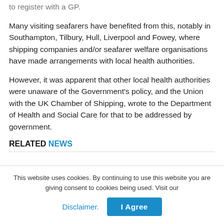to register with a GP.
Many visiting seafarers have benefited from this, notably in Southampton, Tilbury, Hull, Liverpool and Fowey, where shipping companies and/or seafarer welfare organisations have made arrangements with local health authorities.
However, it was apparent that other local health authorities were unaware of the Government's policy, and the Union with the UK Chamber of Shipping, wrote to the Department of Health and Social Care for that to be addressed by government.
RELATED NEWS
This website uses cookies. By continuing to use this website you are giving consent to cookies being used. Visit our
Disclaimer.
I Agree